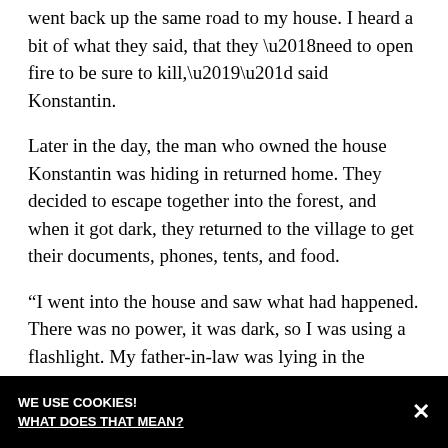went back up the same road to my house. I heard a bit of what they said, that they ‘need to open fire to be sure to kill,’” said Konstantin.
Later in the day, the man who owned the house Konstantin was hiding in returned home. They decided to escape together into the forest, and when it got dark, they returned to the village to get their documents, phones, tents, and food.
“I went into the house and saw what had happened. There was no power, it was dark, so I was using a flashlight. My father-in-law was lying in the entryway. I covered him with a blanket and started to pack. I grabbed a tent and some essentials, put on some warm clothes, and locked the door. Then my neighbors and I went into the woods, set up our tent, and tried to sleep.
WE USE COOKIES!
WHAT DOES THAT MEAN?
×